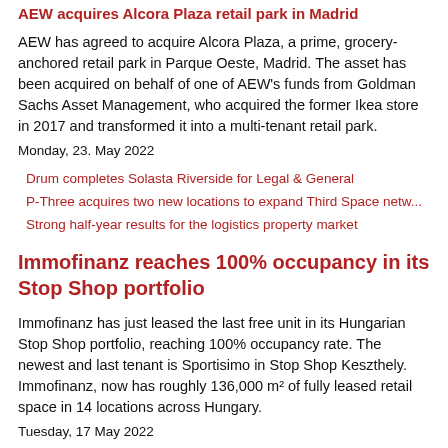AEW acquires Alcora Plaza retail park in Madrid
AEW has agreed to acquire Alcora Plaza, a prime, grocery-anchored retail park in Parque Oeste, Madrid. The asset has been acquired on behalf of one of AEW's funds from Goldman Sachs Asset Management, who acquired the former Ikea store in 2017 and transformed it into a multi-tenant retail park.
Monday, 23. May 2022
Drum completes Solasta Riverside for Legal & General
P-Three acquires two new locations to expand Third Space netw...
Strong half-year results for the logistics property market
Immofinanz reaches 100% occupancy in its Stop Shop portfolio
Immofinanz has just leased the last free unit in its Hungarian Stop Shop portfolio, reaching 100% occupancy rate. The newest and last tenant is Sportisimo in Stop Shop Keszthely. Immofinanz, now has roughly 136,000 m² of fully leased retail space in 14 locations across Hungary.
Tuesday, 17 May 2022